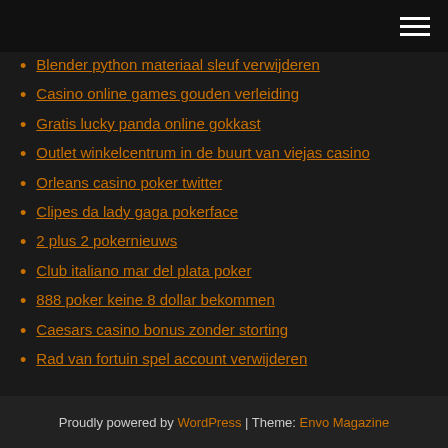Blender python materiaal sleuf verwijderen
Casino online games gouden verleiding
Gratis lucky panda online gokkast
Outlet winkelcentrum in de buurt van viejas casino
Orleans casino poker twitter
Clipes da lady gaga pokerface
2 plus 2 pokernieuws
Club italiano mar del plata poker
888 poker keine 8 dollar bekommen
Caesars casino bonus zonder storting
Rad van fortuin spel account verwijderen
Proudly powered by WordPress | Theme: Envo Magazine